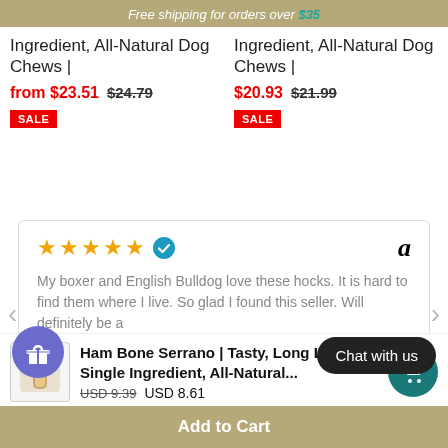Free shipping for orders over $35
Ingredient, All-Natural Dog Chews | from $23.51 $24.79 SALE
Ingredient, All-Natural Dog Chews | $20.93 $21.99 SALE
My boxer and English Bulldog love these hocks. It is hard to find them where I live. So glad I found this seller. Will definitely be a
Show more
Ham Bone Serrano | Tasty, Long Lasting Single Ingredient, All-Natural... USD 9.39  USD 8.61
Add to Cart
Chat with us